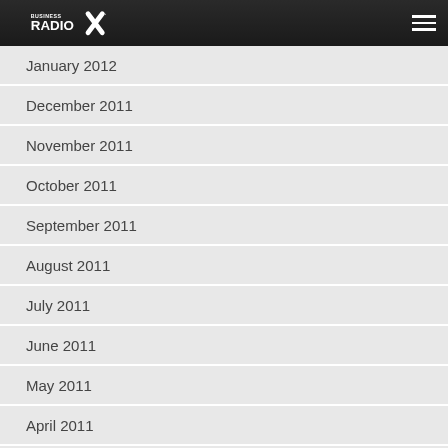Business Radio X
January 2012
December 2011
November 2011
October 2011
September 2011
August 2011
July 2011
June 2011
May 2011
April 2011
March 2011
February 2011